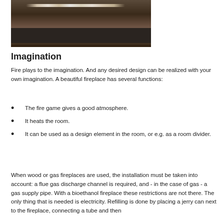[Figure (photo): A modern bioethanol fireplace with a long horizontal flame, set in a dark minimalist surround with stone or concrete surfaces in a dimly lit room.]
Imagination
Fire plays to the imagination. And any desired design can be realized with your own imagination. A beautiful fireplace has several functions:
The fire game gives a good atmosphere.
It heats the room.
It can be used as a design element in the room, or e.g. as a room divider.
When wood or gas fireplaces are used, the installation must be taken into account: a flue gas discharge channel is required, and - in the case of gas - a gas supply pipe. With a bioethanol fireplace these restrictions are not there. The only thing that is needed is electricity. Refilling is done by placing a jerry can next to the fireplace, connecting a tube and then